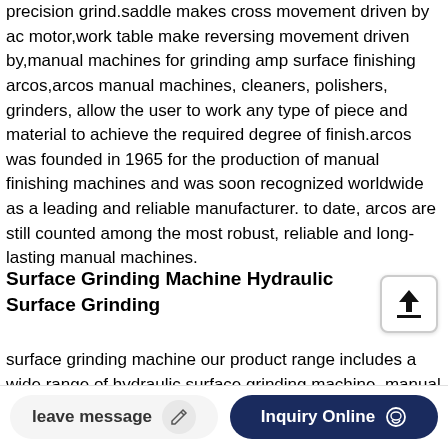precision grind.saddle makes cross movement driven by ac motor,work table make reversing movement driven by,manual machines for grinding amp surface finishing arcos,arcos manual machines, cleaners, polishers, grinders, allow the user to work any type of piece and material to achieve the required degree of finish.arcos was founded in 1965 for the production of manual finishing machines and was soon recognized worldwide as a leading and reliable manufacturer. to date, arcos are still counted among the most robust, reliable and long-lasting manual machines.
Surface Grinding Machine Hydraulic Surface Grinding
surface grinding machine our product range includes a wide range of hydraulic surface grinding machine, manual surface gri...
column type hydraulic surface g...